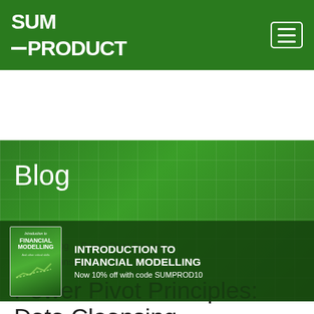[Figure (logo): SumProduct logo in white text on green background with hamburger menu icon]
[Figure (infographic): Blog banner with green gradient background and grid overlay, showing 'Blog' heading and a book promotion for 'Introduction to Financial Modelling' with 10% off code SUMPROD10]
Home > Blog > Power Pivot Principles > Data Cleansing
Power Pivot Principles: Data Cleansing